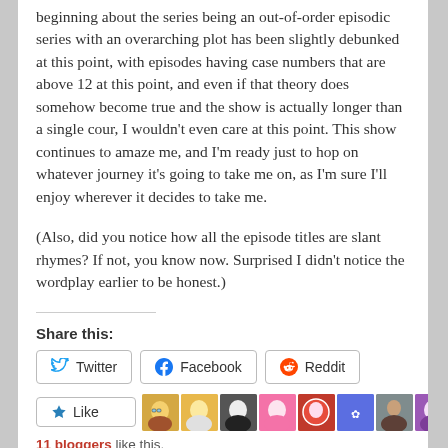beginning about the series being an out-of-order episodic series with an overarching plot has been slightly debunked at this point, with episodes having case numbers that are above 12 at this point, and even if that theory does somehow become true and the show is actually longer than a single cour, I wouldn't even care at this point. This show continues to amaze me, and I'm ready just to hop on whatever journey it's going to take me on, as I'm sure I'll enjoy wherever it decides to take me.
(Also, did you notice how all the episode titles are slant rhymes? If not, you know now. Surprised I didn't notice the wordplay earlier to be honest.)
Share this:
Twitter  Facebook  Reddit
[Figure (other): Like button with star icon and row of 9 blogger avatar thumbnails]
11 bloggers like this.